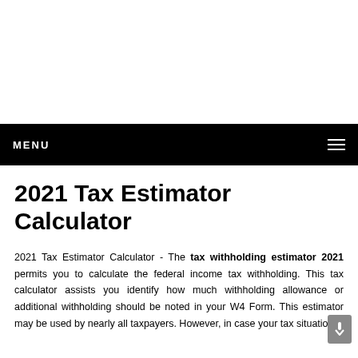MENU
2021 Tax Estimator Calculator
2021 Tax Estimator Calculator - The tax withholding estimator 2021 permits you to calculate the federal income tax withholding. This tax calculator assists you identify how much withholding allowance or additional withholding should be noted in your W4 Form. This estimator may be used by nearly all taxpayers. However, in case your tax situation...